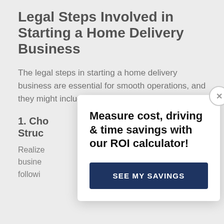Legal Steps Involved in Starting a Home Delivery Business
The legal steps in starting a home delivery business are essential for smooth operations, and they might include:
1. Cho... Struc...
Realize... busine... followi...
[Figure (screenshot): Modal popup overlay with headline 'Measure cost, driving & time savings with our ROI calculator!' and a dark blue button labeled 'SEE MY SAVINGS'. A close (X) button appears at top right of the modal.]